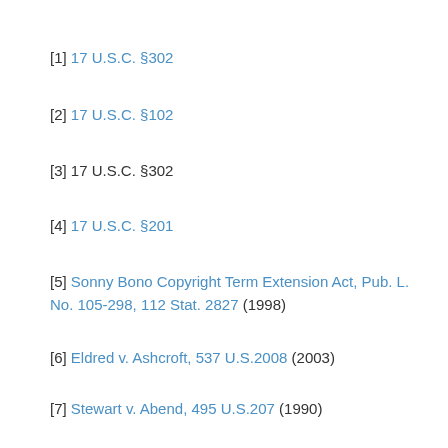[1] 17 U.S.C. §302
[2] 17 U.S.C. §102
[3] 17 U.S.C. §302
[4] 17 U.S.C. §201
[5] Sonny Bono Copyright Term Extension Act, Pub. L. No. 105-298, 112 Stat. 2827 (1998)
[6] Eldred v. Ashcroft, 537 U.S.2008 (2003)
[7] Stewart v. Abend, 495 U.S.207 (1990)
[8] 17 U.S.C. §302
[9] 17 U.S.C. §§401, 405